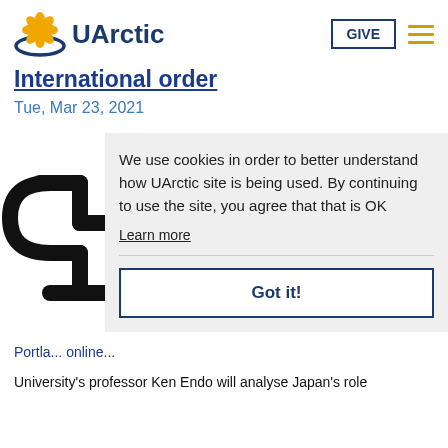UArctic | GIVE
International order
Tue, Mar 23, 2021
[Figure (logo): Partially visible interlocking chain link logo icon on left side]
We use cookies in order to better understand how UArctic site is being used. By continuing to use the site, you agree that that is OK
Learn more
Got it!
Portla... online...
University's professor Ken Endo will analyse Japan's role